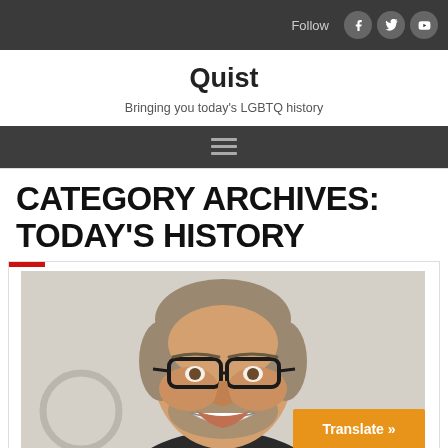Follow
Quist
Bringing you today's LGBTQ history
CATEGORY ARCHIVES: TODAY'S HISTORY
[Figure (photo): A smiling man with glasses, short gray-brown hair and beard, wearing a dark shirt, photographed against a light background. An orange 'Translate »' button appears in the bottom-right corner of the image.]